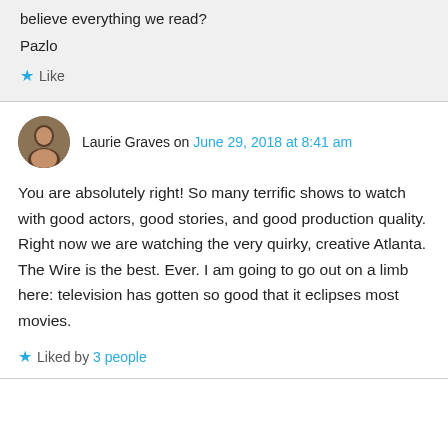believe everything we read?
Pazlo
★ Like
Laurie Graves on June 29, 2018 at 8:41 am
You are absolutely right! So many terrific shows to watch with good actors, good stories, and good production quality. Right now we are watching the very quirky, creative Atlanta. The Wire is the best. Ever. I am going to go out on a limb here: television has gotten so good that it eclipses most movies.
★ Liked by 3 people